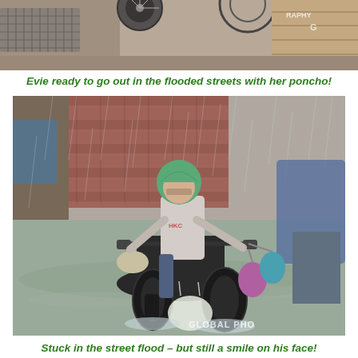[Figure (photo): Top portion of a photo showing a street scene with bicycles, a metal grate, and various objects on a sidewalk — appears to be a cropped top of a flood/street scene photo.]
Evie ready to go out in the flooded streets with her poncho!
[Figure (photo): A young man wearing a green helmet and white t-shirt rides a motorcycle through heavily flooded streets in the rain, carrying grocery bags and a bucket. A watermark reads GLOBAL PHO[TOGRAPHY]. Background shows a brick wall and another person sheltering from rain.]
Stuck in the street flood – but still a smile on his face!